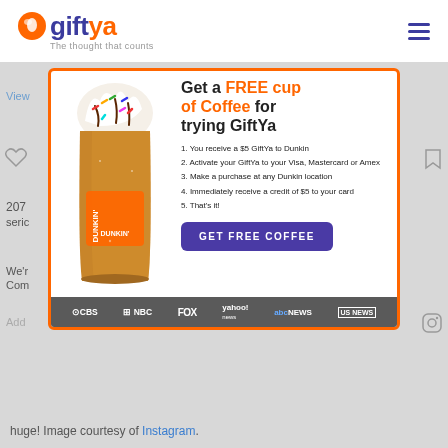giftya — The thought that counts
[Figure (screenshot): GiftYa promotional ad card with Dunkin' iced coffee image, headline 'Get a FREE cup of Coffee for trying GiftYa', numbered list of steps, and GET FREE COFFEE button. Media bar at bottom showing CBS, NBC, FOX, yahoo! news, abcNEWS, US NEWS logos.]
huge! Image courtesy of Instagram.